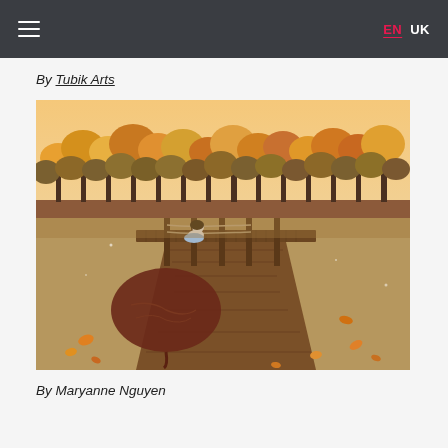EN  UK
By Tubik Arts
[Figure (illustration): Autumn illustration showing a wooden dock over a reflective lake with a person sitting on the dock, surrounded by golden and orange trees in the background. A large dark leaf reflection is visible in the water with fallen orange leaves scattered around.]
By Maryanne Nguyen